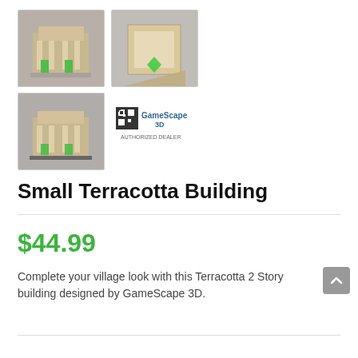[Figure (photo): Top-left thumbnail photo of a small terracotta building model with green accents]
[Figure (photo): Top-right thumbnail photo of the terracotta building model viewed from above]
[Figure (photo): Bottom-left thumbnail photo of the terracotta building model from angle]
[Figure (logo): GameScape 3D Authorized Dealer logo with QR code]
Small Terracotta Building
$44.99
Complete your village look with this Terracotta 2 Story building designed by GameScape 3D.